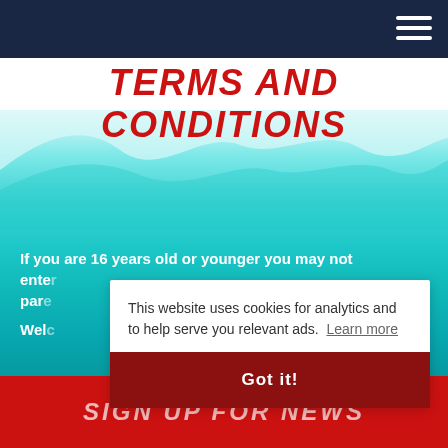TERMS AND CONDITIONS
[Figure (photo): Ocean/sea water background image with turquoise waves]
If you are 16 years old or younger you may not enter...
Wel...
This website uses cookies for analytics and to help serve you relevant ads. Learn more
Got it!
SIGN UP FOR NEWS